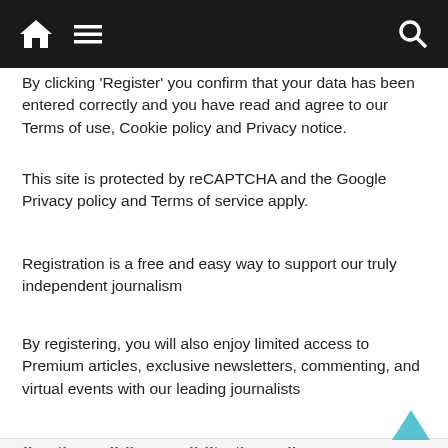Navigation bar with home icon, menu icon, and search icon
By clicking 'Register' you confirm that your data has been entered correctly and you have read and agree to our Terms of use, Cookie policy and Privacy notice.
This site is protected by reCAPTCHA and the Google Privacy policy and Terms of service apply.
Registration is a free and easy way to support our truly independent journalism
By registering, you will also enjoy limited access to Premium articles, exclusive newsletters, commenting, and virtual events with our leading journalists
{{#verifyErrors}} {{message}} {{/verifyErrors}} {{^verifyErrors}} {{message}} {{/verifyErrors}}
By clicking 'Create my account' you confirm that your data has been entered correctly and you have read